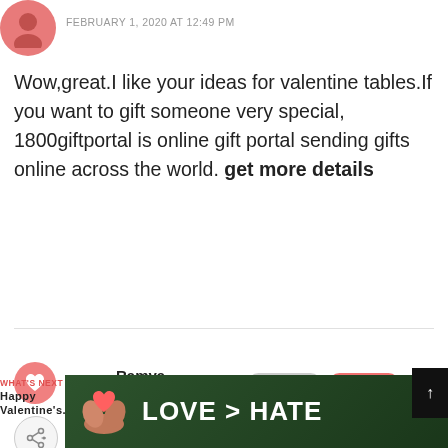FEBRUARY 1, 2020 AT 12:49 PM
Wow,great.I like your ideas for valentine tables.If you want to gift someone very special, 1800giftportal is online gift portal sending gifts online across the world. get more details
Ramya
FEBRUARY 11, 2020 AT 11:16 AM
celebrate this valentine's day with balloon decorations. Thank you for sharing this beautiful information.
[Figure (photo): Advertisement image showing hands forming a heart shape with text LOVE > HATE]
WHAT'S NEXT → Happy Valentine's...